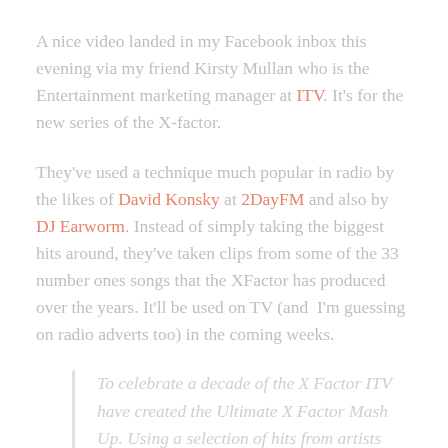A nice video landed in my Facebook inbox this evening via my friend Kirsty Mullan who is the Entertainment marketing manager at ITV. It's for the new series of the X-factor.
They've used a technique much popular in radio by the likes of David Konsky at 2DayFM and also by DJ Earworm. Instead of simply taking the biggest hits around, they've taken clips from some of the 33 number ones songs that the XFactor has produced over the years. It'll be used on TV (and  I'm guessing on radio adverts too) in the coming weeks.
To celebrate a decade of the X Factor ITV have created the Ultimate X Factor Mash Up. Using a selection of hits from artists